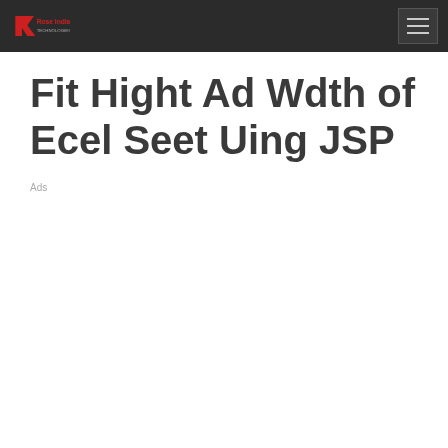Rose India Technologies - navigation header
Fit Hight Ad Wdth of Ecel Seet Uing JSP
Ads